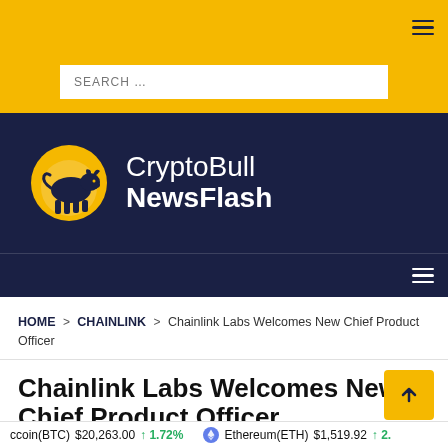CryptoBull NewsFlash - top navigation bar with hamburger menu
[Figure (logo): CryptoBull NewsFlash logo: gold circle with navy bull silhouette, text 'CryptoBull NewsFlash']
HOME > CHAINLINK > Chainlink Labs Welcomes New Chief Product Officer
Chainlink Labs Welcomes New Chief Product Officer
Bitcoin(BTC) $20,263.00 ↑ 1.72%  Ethereum(ETH) $1,519.92 ↑ 2.